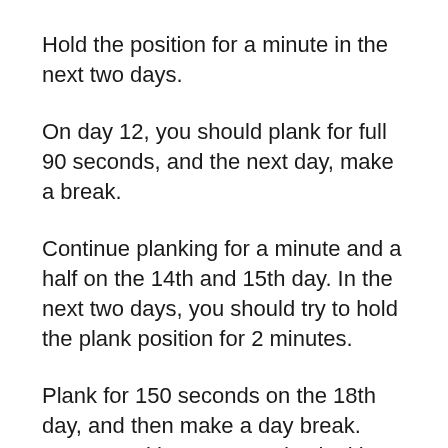Hold the position for a minute in the next two days.
On day 12, you should plank for full 90 seconds, and the next day, make a break.
Continue planking for a minute and a half on the 14th and 15th day. In the next two days, you should try to hold the plank position for 2 minutes.
Plank for 150 seconds on the 18th day, and then make a day break. Resume with 150 seconds planking in the next couple of days, and hold for 180 seconds on the 22nd and 23rd day. The next day, plank for 210 seconds, again make a break for a day and hold the plank for 210 seconds on the 26th